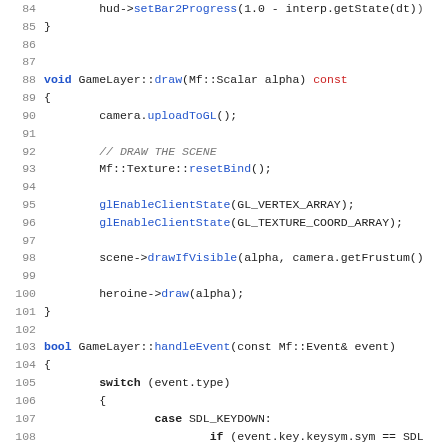[Figure (screenshot): Source code listing in C++ showing GameLayer class methods: draw and handleEvent, with syntax highlighting. Line numbers 84-115 visible.]